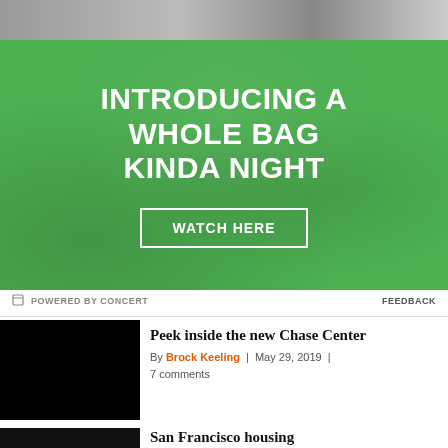[Figure (photo): Top portion of an advertisement showing a partial photo at the top and a green textured background with white bold text reading 'INTRODUCING A WHOLE BAG KINDA NIGHT' and a white-bordered button reading 'WATCH HERE']
POWERED BY CONCERT    FEEDBACK
Peek inside the new Chase Center
By Brock Keeling | May 29, 2019 | 7 comments
[Figure (photo): Black thumbnail image for article about Chase Center]
San Francisco housing